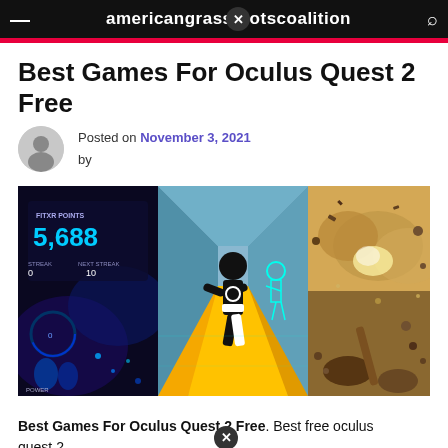americangrassfootscoalition
Best Games For Oculus Quest 2 Free
Posted on November 3, 2021 by
[Figure (photo): Three-panel collage of VR game screenshots: left panel shows a FitXR dance game with '5,688 FITXR POINTS' displayed, center panel shows a silhouetted character on a yellow runway with a cyan holographic figure, right panel shows an explosive action scene with debris flying.]
Best Games For Oculus Quest 2 Free. Best free oculus quest 2...